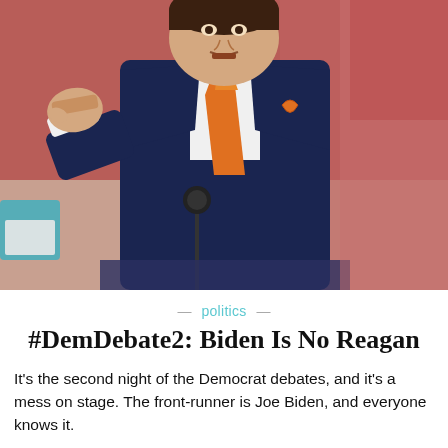[Figure (photo): A man in a dark navy blue suit with an orange tie and orange ribbon pin, raising his fist at a debate podium. The background shows a debate stage with 'DEM' text visible and colorful signage.]
— politics —
#DemDebate2: Biden Is No Reagan
It's the second night of the Democrat debates, and it's a mess on stage. The front-runner is Joe Biden, and everyone knows it.